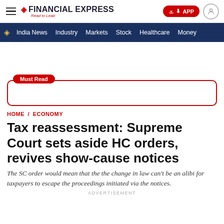FINANCIAL EXPRESS — Read to Lead
India News   Industry   Markets   Stock   Healthcare   Money
Must Read
HOME / ECONOMY
Tax reassessment: Supreme Court sets aside HC orders, revives show-cause notices
The SC order would mean that the the change in law can't be an alibi for taxpayers to escape the proceedings initiated via the notices.
ADVERTISEMENT